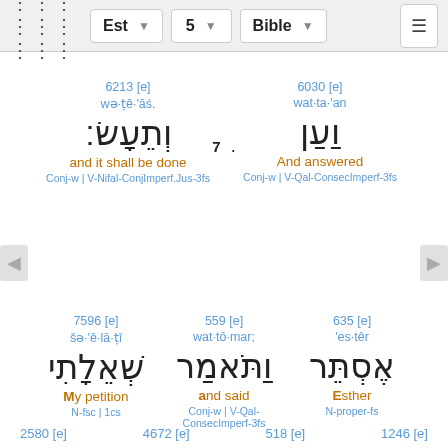Est  5  Bible
6213 [e]  wə·ṭê·'āś.  וְתֵעָשׂ׃  and it shall be done  Conj-w | V-Nifal-ConjImperf.Jus-3fs
6030 [e]  wat·ta·'an  וַעַן  And answered  Conj-w | V-Qal-ConsecImperf-3fs
7  .
635 [e]  'es·têr  אֶסְ‍תֵּר  Esther  N-proper-fs
559 [e]  wat·tō·mar;  וַתֹּאמַר  and said  Conj-w | V-Qal-ConsecImperf-3fs
7596 [e]  šə·'ê·lā·ṭî  שְׁאֵלָתִי  My petition  N-fsc | 1cs
1246 [e]  518 [e]  4672 [e]  2580 [e]